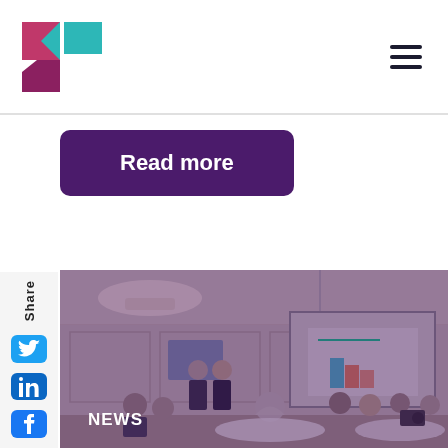Read more
Share
[Figure (photo): Conference or seminar room scene: two presenters (women in dark business attire) standing at the front of the room next to a projection screen showing a colorful bar chart. Audience members are seated at round tables with white tablecloths. The room has warm pendant lighting. The photo has a purple/violet overlay tint.]
NEWS